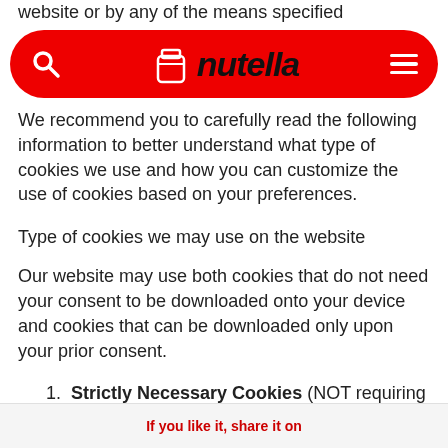website or by any of the means specified
[Figure (logo): Nutella website navigation bar with red pill-shaped background, search icon on left, nutella logo in center, hamburger menu on right]
We recommend you to carefully read the following information to better understand what type of cookies we use and how you can customize the use of cookies based on your preferences.
Type of cookies we may use on the website
Our website may use both cookies that do not need your consent to be downloaded onto your device and cookies that can be downloaded only upon your prior consent.
Strictly Necessary Cookies (NOT requiring your prior consent): These are
If you like it, share it on